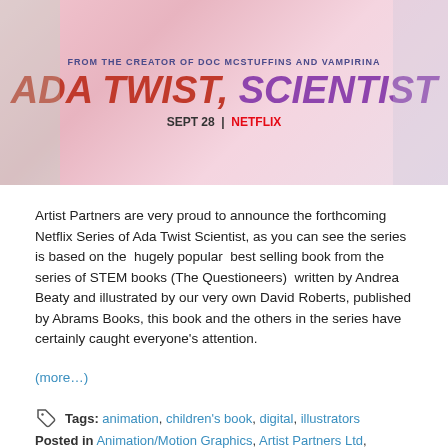[Figure (illustration): Promotional banner for Ada Twist Scientist Netflix series. Shows animated characters in a colorful science lab setting. Text reads: FROM THE CREATOR OF DOC McSTUFFINS AND VAMPIRINA, ADA TWIST, SCIENTIST, SEPT 28 | NETFLIX]
Artist Partners are very proud to announce the forthcoming Netflix Series of Ada Twist Scientist, as you can see the series is based on the hugely popular best selling book from the series of STEM books (The Questioneers) written by Andrea Beaty and illustrated by our very own David Roberts, published by Abrams Books, this book and the others in the series have certainly caught everyone’s attention.
(more…)
Tags: animation, children’s book, digital, illustrators
Posted in Animation/Motion Graphics, Artist Partners Ltd, Children’s Books, General News, illustrator | Leave a